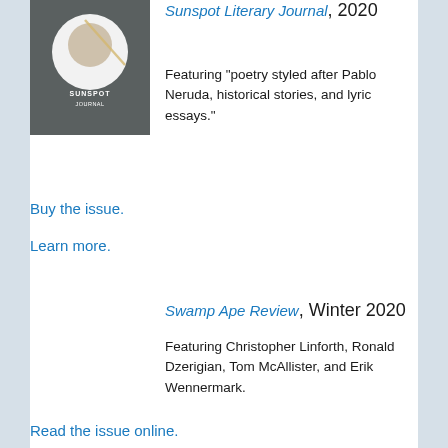[Figure (photo): Cover image of Sunspot Literary Journal — dark background with a circular white shape and text 'SUNSPOT JOURNAL']
Sunspot Literary Journal, 2020
Featuring “poetry styled after Pablo Neruda, historical stories, and lyric essays.”
Buy the issue.
Learn more.
Swamp Ape Review, Winter 2020
Featuring Christopher Linforth, Ronald Dzerigian, Tom McAllister, and Erik Wennermark.
Read the issue online.